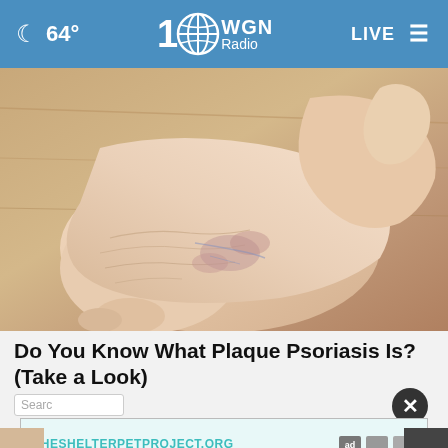🌙 64°  WGN Radio  LIVE
[Figure (photo): Close-up photograph of a human foot/ankle showing skin condition (plaque psoriasis) with dry, scaly, reddened skin on a wooden floor background]
Do You Know What Plaque Psoriasis Is? (Take a Look)
Search
[Figure (other): Advertisement banner: THESHELTERPETPROJECT.ORG with ad icons]